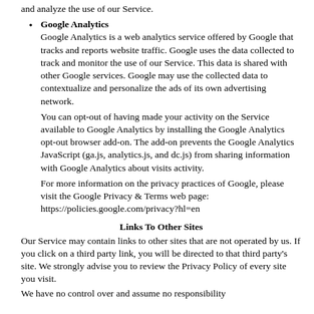and analyze the use of our Service.
Google Analytics
Google Analytics is a web analytics service offered by Google that tracks and reports website traffic. Google uses the data collected to track and monitor the use of our Service. This data is shared with other Google services. Google may use the collected data to contextualize and personalize the ads of its own advertising network.
You can opt-out of having made your activity on the Service available to Google Analytics by installing the Google Analytics opt-out browser add-on. The add-on prevents the Google Analytics JavaScript (ga.js, analytics.js, and dc.js) from sharing information with Google Analytics about visits activity.
For more information on the privacy practices of Google, please visit the Google Privacy & Terms web page: https://policies.google.com/privacy?hl=en
Links To Other Sites
Our Service may contain links to other sites that are not operated by us. If you click on a third party link, you will be directed to that third party's site. We strongly advise you to review the Privacy Policy of every site you visit.
We have no control over and assume no responsibility